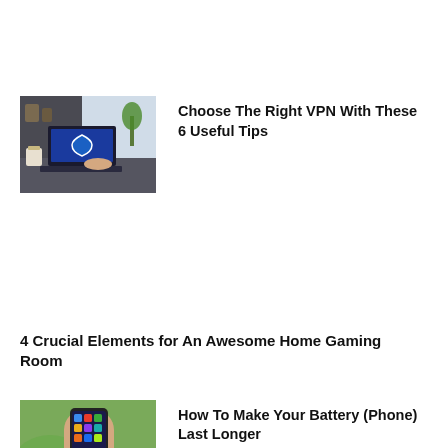[Figure (photo): Person using a laptop with a VPN interface at a cafe table with a coffee cup]
Choose The Right VPN With These 6 Useful Tips
4 Crucial Elements for An Awesome Home Gaming Room
[Figure (photo): Hand holding a smartphone with app icons visible on the screen, outdoors with greenery]
How To Make Your Battery (Phone) Last Longer